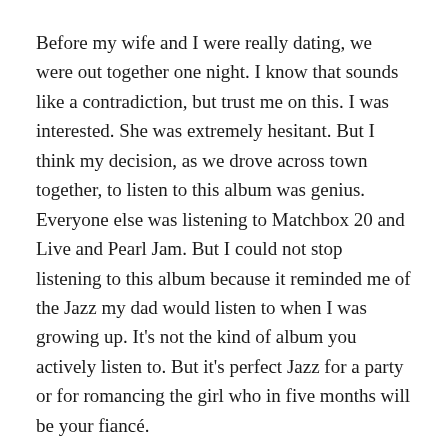Before my wife and I were really dating, we were out together one night. I know that sounds like a contradiction, but trust me on this. I was interested. She was extremely hesitant. But I think my decision, as we drove across town together, to listen to this album was genius. Everyone else was listening to Matchbox 20 and Live and Pearl Jam. But I could not stop listening to this album because it reminded me of the Jazz my dad would listen to when I was growing up. It's not the kind of album you actively listen to. But it's perfect Jazz for a party or for romancing the girl who in five months will be your fiancé.
Highlights: I Will Be There, Moondance. All Saint's Day
Tell Me Something: The Songs of Mose Allison: 1996